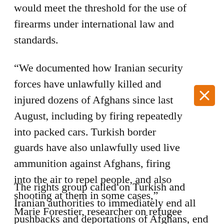would meet the threshold for the use of firearms under international law and standards.
“We documented how Iranian security forces have unlawfully killed and injured dozens of Afghans since last August, including by firing repeatedly into packed cars. Turkish border guards have also unlawfully used live ammunition against Afghans, firing into the air to repel people, and also shooting at them in some cases,” Marie Forestier, researcher on refugee and migrants rights at Amnesty International, said in a statement.
The rights group called on Turkish and Iranian authorities to immediately end all pushbacks and deportations of Afghans, end torture and other ill-treatment, and ensure safe passage and